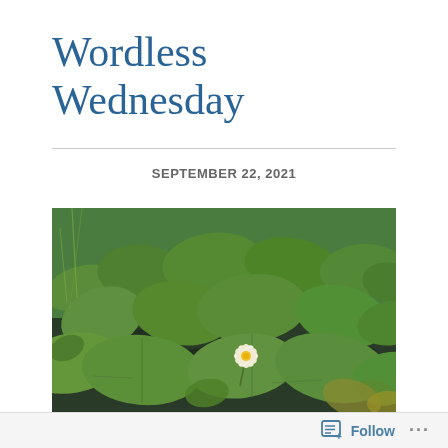Wordless Wednesday
SEPTEMBER 22, 2021
[Figure (photo): Photograph of a pond covered with green lily pads and a single white water lily flower with a yellow center, floating among the large round leaves on dark water.]
Follow ...